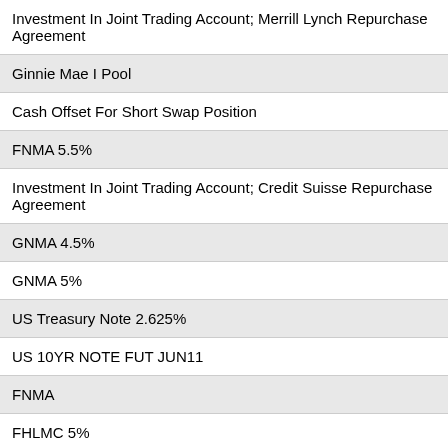Investment In Joint Trading Account; Merrill Lynch Repurchase Agreement
Ginnie Mae I Pool
Cash Offset For Short Swap Position
FNMA 5.5%
Investment In Joint Trading Account; Credit Suisse Repurchase Agreement
GNMA 4.5%
GNMA 5%
US Treasury Note 2.625%
US 10YR NOTE FUT JUN11
FNMA
FHLMC 5%
Gs Mtg Coml 2007-Gg10 CMO
FNMA 4%
FNMA 4%